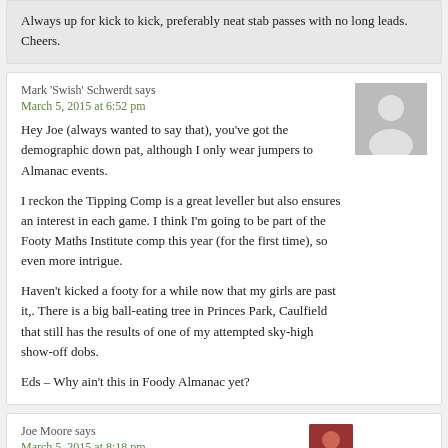Always up for kick to kick, preferably neat stab passes with no long leads. Cheers.
Mark 'Swish' Schwerdt says
March 5, 2015 at 6:52 pm

Hey Joe (always wanted to say that), you've got the demographic down pat, although I only wear jumpers to Almanac events.

I reckon the Tipping Comp is a great leveller but also ensures an interest in each game. I think I'm going to be part of the Footy Maths Institute comp this year (for the first time), so even more intrigue.

Haven't kicked a footy for a while now that my girls are past it,. There is a big ball-eating tree in Princes Park, Caulfield that still has the results of one of my attempted sky-high show-off dobs.

Eds – Why ain't this in Foody Almanac yet?
Joe Moore says
March 5, 2015 at 8:18 pm

Thanks Phil. Agree 100% on the 'long lead' ban.